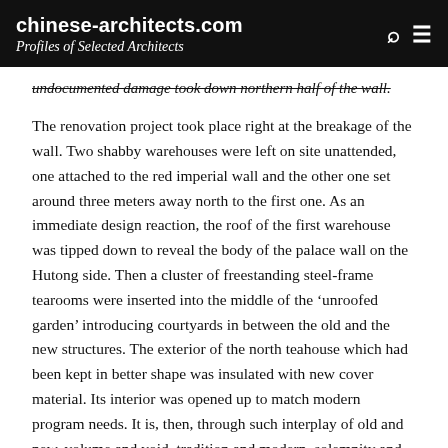chinese-architects.com
Profiles of Selected Architects
undocumented damage took down northern half of the wall.
The renovation project took place right at the breakage of the wall. Two shabby warehouses were left on site unattended, one attached to the red imperial wall and the other one set around three meters away north to the first one. As an immediate design reaction, the roof of the first warehouse was tipped down to reveal the body of the palace wall on the Hutong side. Then a cluster of freestanding steel-frame tearooms were inserted into the middle of the ‘unroofed garden’ introducing courtyards in between the old and the new structures. The exterior of the north teahouse which had been kept in better shape was insulated with new cover material. Its interior was opened up to match modern program needs. It is, then, through such interplay of old and new, volume and void, tradition and modern, solemnity and absurdness that unprecedented readings on local environment start to emerge.
City behaves like a giant organ. Abundant boundary spaces, gaps and buffer areas among buildings and urban spaces are locations most likely to grow and decline. On one hand, they deteriorate as insufficient maintenance is carried out. On another, opportunities